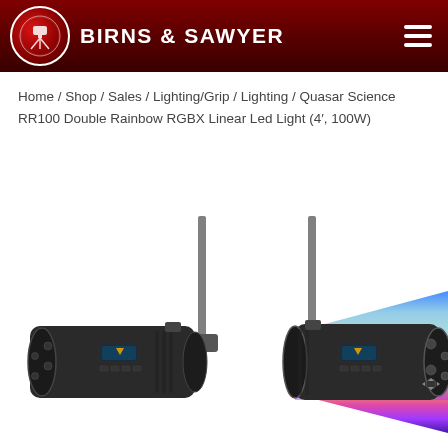BIRNS & SAWYER
Home / Shop / Sales / Lighting/Grip / Lighting / Quasar Science RR100 Double Rainbow RGBX Linear Led Light (4′, 100W)
[Figure (photo): Product photo of Quasar Science RR100 Double Rainbow RGBX Linear LED light fixture shown from front and rear views on a stand, with rainbow colored light beam projected from one end]